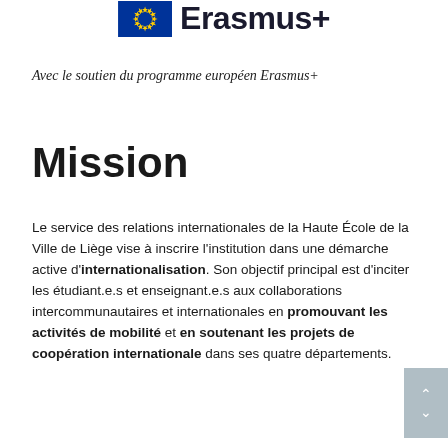[Figure (logo): Erasmus+ logo with EU flag (blue rectangle with yellow stars) and 'Erasmus+' text in dark blue]
Avec le soutien du programme européen Erasmus+
Mission
Le service des relations internationales de la Haute École de la Ville de Liège vise à inscrire l'institution dans une démarche active d'internationalisation. Son objectif principal est d'inciter les étudiant.e.s et enseignant.e.s aux collaborations intercommunautaires et internationales en promouvant les activités de mobilité et en soutenant les projets de coopération internationale dans ses quatre départements.